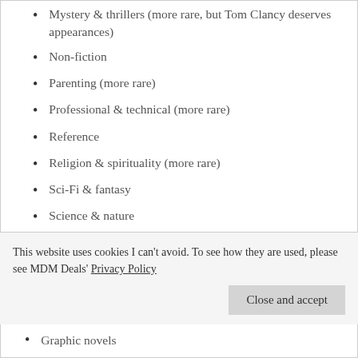Mystery & thrillers (more rare, but Tom Clancy deserves appearances)
Non-fiction
Parenting (more rare)
Professional & technical (more rare)
Reference
Religion & spirituality (more rare)
Sci-Fi & fantasy
Science & nature
At present, I intend to NOT curate the following genres:
This website uses cookies I can't avoid. To see how they are used, please see MDM Deals' Privacy Policy
Graphic novels